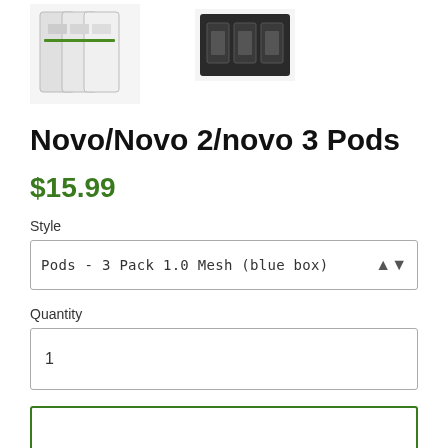[Figure (photo): Two product photos of Novo/Novo 2/Novo 3 Pods. Left image shows a 3-pack in clear/white packaging. Right image shows pods in dark/black packaging.]
Novo/Novo 2/novo 3 Pods
$15.99
Style
Pods - 3 Pack 1.0 Mesh (blue box)
Quantity
1